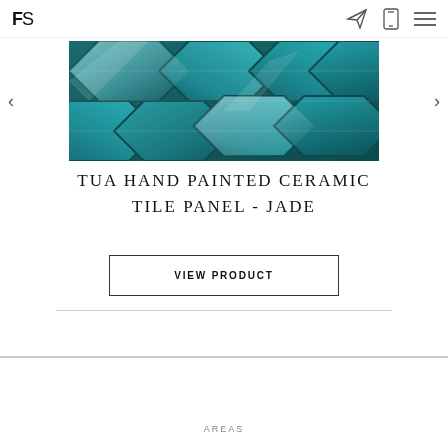FS
[Figure (photo): Close-up photo of teal/jade hand-painted hexagonal ceramic tiles with glossy finish and light reflections]
TUA HAND PAINTED CERAMIC TILE PANEL - JADE
VIEW PRODUCT
AREAS